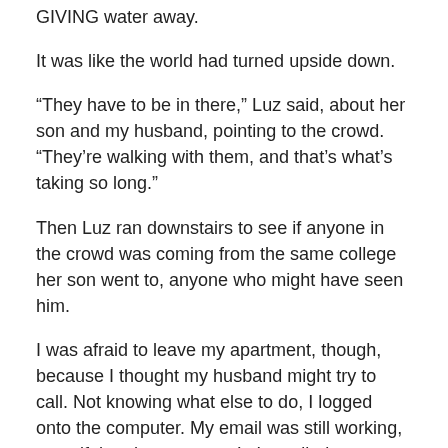GIVING water away.
It was like the world had turned upside down.
“They have to be in there,” Luz said, about her son and my husband, pointing to the crowd. “They’re walking with them, and that’s what’s taking so long.”
Then Luz ran downstairs to see if anyone in the crowd was coming from the same college her son went to, anyone who might have seen him.
I was afraid to leave my apartment, though, because I thought my husband might try to call. Not knowing what else to do, I logged onto the computer. My email was still working, even if the phones weren’t. I emailed my husband: WHERE ARE YOU?
No reply.
A friend from Indiana wrote to ask if there was